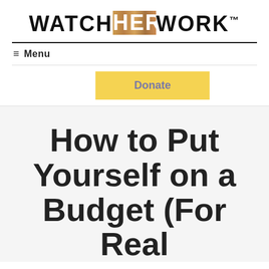WATCHHERWORK™
≡ Menu
Donate
How to Put Yourself on a Budget (For Real